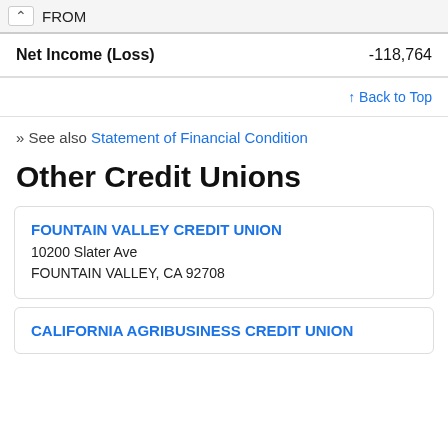FROM
|  | Amount |
| --- | --- |
| Net Income (Loss) | -118,764 |
↑ Back to Top
» See also Statement of Financial Condition
Other Credit Unions
FOUNTAIN VALLEY CREDIT UNION
10200 Slater Ave
FOUNTAIN VALLEY, CA 92708
CALIFORNIA AGRIBUSINESS CREDIT UNION